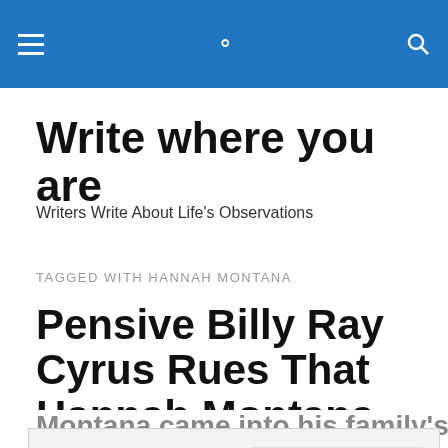Write where you are — site header navigation bar
Write where you are
Writers Write About Life's Observations
TAGGED WITH HANNAH MONTANA
Pensive Billy Ray Cyrus Rues That Hannah Montana Came
Privacy & Cookies: This site uses cookies. By continuing to use this website, you agree to their use.
To find out more, including how to control cookies, see here: Cookie Policy
Close and accept
Montana came into his family's life. He expresses that